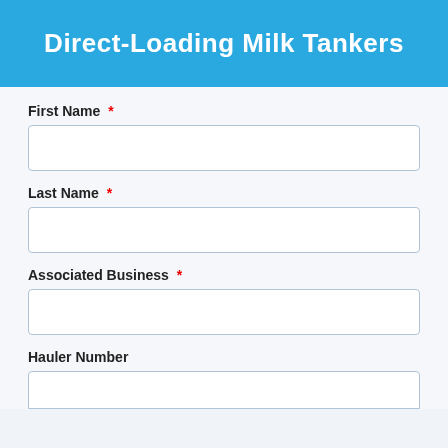Direct-Loading Milk Tankers
First Name *
Last Name *
Associated Business *
Hauler Number